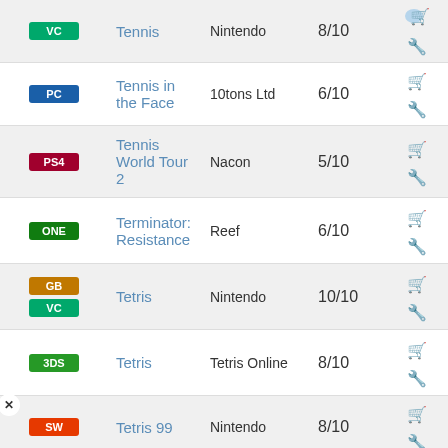| Platform | Title | Publisher | Score | Actions |
| --- | --- | --- | --- | --- |
| VC | Tennis | Nintendo | 8/10 |  |
| PC | Tennis in the Face | 10tons Ltd | 6/10 |  |
| PS4 | Tennis World Tour 2 | Nacon | 5/10 |  |
| ONE | Terminator: Resistance | Reef | 6/10 |  |
| GB, VC | Tetris | Nintendo | 10/10 |  |
| 3DS | Tetris | Tetris Online | 8/10 |  |
| SW | Tetris 99 | Nintendo | 8/10 |  |
|  |  | Nintendo | 9/10 |  |
|  |  | Nintendo | 9/10 |  |
[Figure (screenshot): Video ad overlay: LOTR: GOLLUM GAMEPLAY TRAILER on MW Hollywood background]